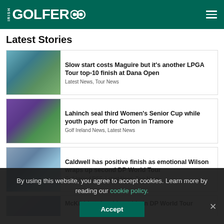IRISH GOLFER
Latest Stories
[Figure (photo): Female golfer swinging a club]
Slow start costs Maguire but it's another LPGA Tour top-10 finish at Dana Open
Latest News, Tour News
[Figure (photo): Women's team celebrating with arms raised on golf course]
Lahinch seal third Women's Senior Cup while youth pays off for Carton in Tramore
Golf Ireland News, Latest News
[Figure (photo): Male golfer holding a trophy]
Caldwell has positive finish as emotional Wilson wraps up second DP World Tour
Golf Ireland RSS, Latest News, Tour News
McKibbin takes big stride in DP World Tour
By using this website, you agree to accept cookies. Learn more by reading our cookie policy.
Accept